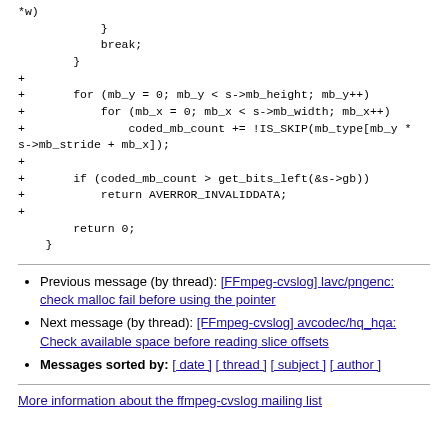*w)
            }
            break;
        }
+
+       for (mb_y = 0; mb_y < s->mb_height; mb_y++)
+           for (mb_x = 0; mb_x < s->mb_width; mb_x++)
+               coded_mb_count += !IS_SKIP(mb_type[mb_y * s->mb_stride + mb_x]);
+
+       if (coded_mb_count > get_bits_left(&s->gb))
+           return AVERROR_INVALIDDATA;
+
        return 0;
    }
Previous message (by thread): [FFmpeg-cvslog] lavc/pngenc: check malloc fail before using the pointer
Next message (by thread): [FFmpeg-cvslog] avcodec/hq_hqa: Check available space before reading slice offsets
Messages sorted by: [ date ] [ thread ] [ subject ] [ author ]
More information about the ffmpeg-cvslog mailing list